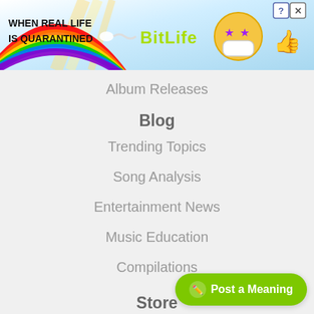[Figure (screenshot): BitLife advertisement banner with rainbow background. Text reads 'WHEN REAL LIFE IS QUARANTINED' with BitLife logo and emoji mascots. Has help (?) and close (X) buttons.]
Album Releases
Blog
Trending Topics
Song Analysis
Entertainment News
Music Education
Compilations
Store
Stylish Merch
Women's Clothing
Men's Clothing